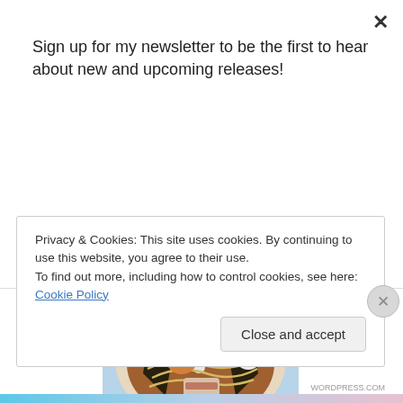Sign up for my newsletter to be the first to hear about new and upcoming releases!
Subscribe
[Figure (photo): A bowl of ramen with noodles, soft-boiled egg, chashu pork, nori seaweed sheets, green onions, and a white ceramic spoon]
Privacy & Cookies: This site uses cookies. By continuing to use this website, you agree to their use.
To find out more, including how to control cookies, see here: Cookie Policy
Close and accept